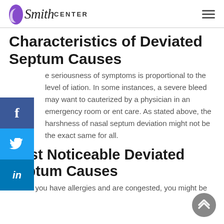Smith Center
Characteristics of Deviated Septum Causes
e seriousness of symptoms is proportional to the level of iation. In some instances, a severe bleed may want to cauterized by a physician in an emergency room or ent care. As stated above, the harshness of nasal septum deviation might not be the exact same for all.
Most Noticeable Deviated Septum Causes
In case you have allergies and are congested, you might be